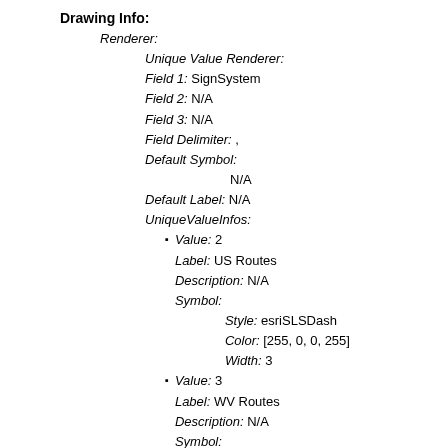Drawing Info:
Renderer:
Unique Value Renderer:
Field 1: SignSystem
Field 2: N/A
Field 3: N/A
Field Delimiter: ,
Default Symbol:
N/A
Default Label: N/A
UniqueValueInfos:
Value: 2
Label: US Routes
Description: N/A
Symbol:
  Style: esriSLSDash
  Color: [255, 0, 0, 255]
  Width: 3
Value: 3
Label: WV Routes
Description: N/A
Symbol:
  Style: esriSLSDash
  Color: [0, 0, 0, 255]
  Width: 1
Value: 4
Label: County Routes
Description: N/A